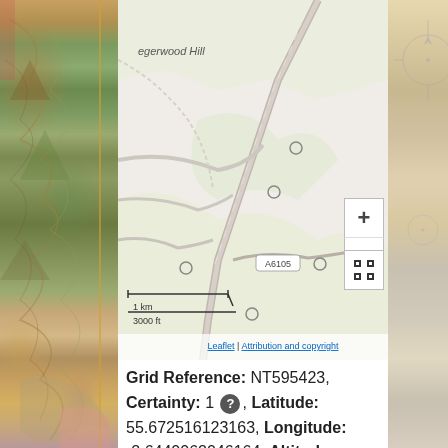[Figure (map): Interactive Leaflet map showing Hegerwood Hill area with roads, paths, and circular markers. Shows A6105 road label, zoom controls (+/-), fullscreen button, scale bar showing 1km/3000ft.]
Leaflet | Attribution and copyright
Grid Reference: NT595423, Certainty: 1, Latitude: 55.672516123163, Longitude: -2.6440062046164, Altitude: 189m, Landranger sheets: 73, 74